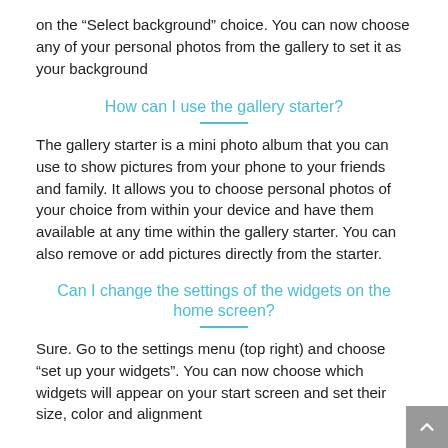on the “Select background” choice. You can now choose any of your personal photos from the gallery to set it as your background
How can I use the gallery starter?
The gallery starter is a mini photo album that you can use to show pictures from your phone to your friends and family. It allows you to choose personal photos of your choice from within your device and have them available at any time within the gallery starter. You can also remove or add pictures directly from the starter.
Can I change the settings of the widgets on the home screen?
Sure. Go to the settings menu (top right) and choose “set up your widgets”. You can now choose which widgets will appear on your start screen and set their size, color and alignment